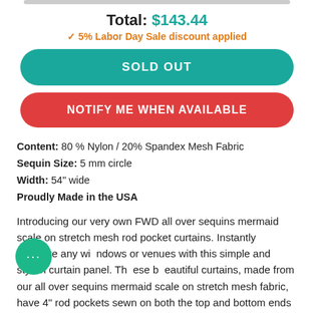Total: $143.44
✓ 5% Labor Day Sale discount applied
SOLD OUT
NOTIFY ME WHEN AVAILABLE
Content: 80 % Nylon / 20% Spandex Mesh Fabric
Sequin Size: 5 mm circle
Width: 54" wide
Proudly Made in the USA
Introducing our very own FWD all over sequins mermaid scale on stretch mesh rod pocket curtains. Instantly decorate any windows or venues with this simple and stylish curtain panel. These beautiful curtains, made from our all over sequins mermaid scale on stretch mesh fabric, have 4" rod pockets sewn on both the top and bottom ends and feature natural